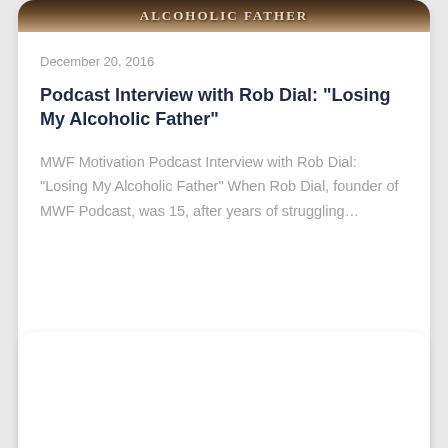[Figure (photo): Top banner image with text 'ALCOHOLIC FATHER' displayed in light serif font over a dark brown/amber background]
December 20, 2016
Podcast Interview with Rob Dial: “Losing My Alcoholic Father”
MWF Motivation Podcast Interview with Rob Dial: “Losing My Alcoholic Father” When Rob Dial, founder of MWF Podcast, was 15, after years of struggling…